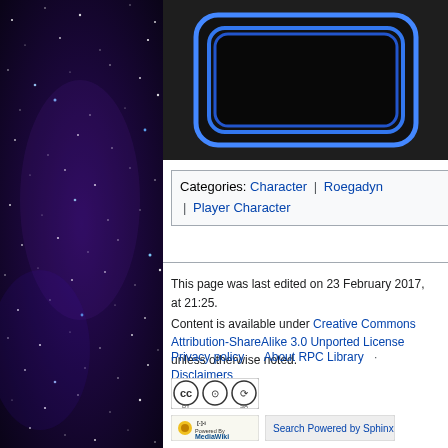[Figure (illustration): Night sky with purple/blue space background and bright stars, used as left panel background.]
[Figure (logo): Game logo/icon — black rounded rectangle with blue neon border outline, nested rectangles in blue and black creating a glowing effect on dark background.]
Categories: Character | Roegadyn | Player Character
This page was last edited on 23 February 2017, at 21:25.
Content is available under Creative Commons Attribution-ShareAlike 3.0 Unported License unless otherwise noted.
Privacy policy   About RPC Library   Disclaimers
[Figure (logo): Creative Commons BY-SA license badge with CC, person, and share-alike icons.]
[Figure (logo): Powered by MediaWiki badge with sunflower logo.]
[Figure (logo): Search Powered by Sphinx badge.]